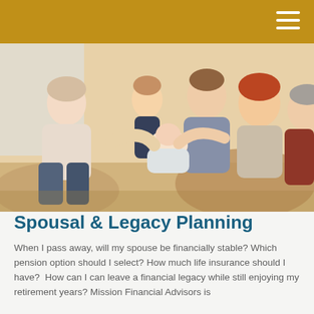[Figure (photo): Multi-generational family sitting together indoors, smiling and admiring a newborn baby. Includes older adults, young couple, a toddler, and an infant.]
Spousal & Legacy Planning
When I pass away, will my spouse be financially stable? Which pension option should I select? How much life insurance should I have?  How can I can leave a financial legacy while still enjoying my retirement years? Mission Financial Advisors is